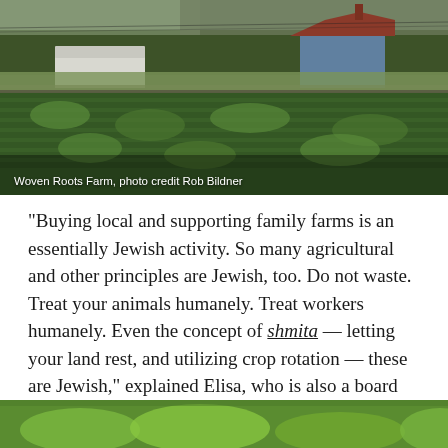[Figure (photo): Aerial view of Woven Roots Farm showing green vegetable crops in rows, a white greenhouse structure on the left, and a blue farmhouse with red roof on the right, surrounded by trees]
Woven Roots Farm, photo credit Rob Bildner
“Buying local and supporting family farms is an essentially Jewish activity. So many agricultural and other principles are Jewish, too. Do not waste. Treat your animals humanely. Treat workers humanely. Even the concept of shmita — letting your land rest, and utilizing crop rotation — these are Jewish,” explained Elisa, who is also a board member of 70 Faces Media, the parent organization of The Nosher.
[Figure (photo): Bottom portion of a photo showing green vegetables, partially cropped]